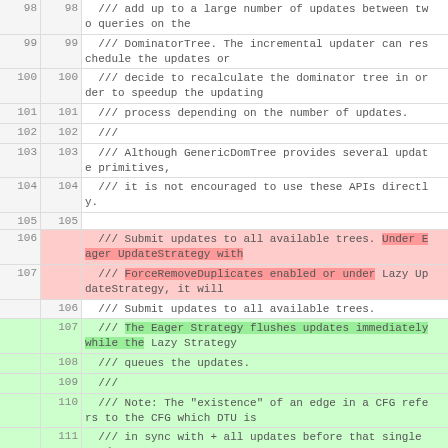| line_old | line_new | code |
| --- | --- | --- |
| 98 | 98 | /// add up to a large number of updates between two queries on the |
| 99 | 99 | /// DominatorTree. The incremental updater can reschedule the updates or |
| 100 | 100 | /// decide to recalculate the dominator tree in order to speedup the updating |
| 101 | 101 | /// process depending on the number of updates. |
| 102 | 102 | /// |
| 103 | 103 | /// Although GenericDomTree provides several update primitives, |
| 104 | 104 | /// it is not encouraged to use these APIs directly. |
| 105 | 105 |  |
| 106 |  | /// Submit updates to all available trees. Under Eager UpdateStrategy with |
| 107 |  | /// ForceRemoveDuplicates enabled or under Lazy UpdateStrategy, it will |
|  | 106 | /// Submit updates to all available trees. |
|  | 107 | /// The Eager Strategy flushes updates immediately while the Lazy Strategy |
|  | 108 | /// queues the updates. |
|  | 109 | /// |
|  | 110 | /// Note: The "existence" of an edge in a CFG refers to the CFG which DTU is |
|  | 111 | /// in sync with + all updates before that single update. |
|  | 112 | /// |
|  | 113 | /// CAUTION! |